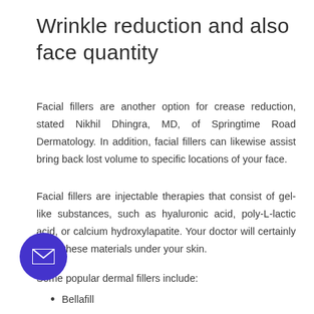Wrinkle reduction and also face quantity
Facial fillers are another option for crease reduction, stated Nikhil Dhingra, MD, of Springtime Road Dermatology. In addition, facial fillers can likewise assist bring back lost volume to specific locations of your face.
Facial fillers are injectable therapies that consist of gel-like substances, such as hyaluronic acid, poly-L-lactic acid, or calcium hydroxylapatite. Your doctor will certainly inject these materials under your skin.
Some popular dermal fillers include:
Bellafill